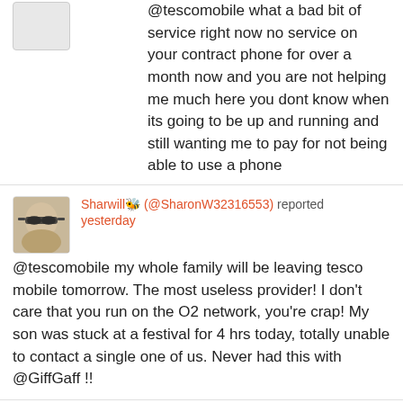@tescomobile what a bad bit of service right now no service on your contract phone for over a month now and you are not helping me much here you dont know when its going to be up and running and still wanting me to pay for not being able to use a phone
Sharwill🐝 (@SharonW32316553) reported yesterday
@tescomobile my whole family will be leaving tesco mobile tomorrow. The most useless provider! I don't care that you run on the O2 network, you're crap! My son was stuck at a festival for 4 hrs today, totally unable to contact a single one of us. Never had this with @GiffGaff !!
DT 🐝 (@BeepsMan) reported yesterday
@tescomobile is there a problem.. can't get any signal?